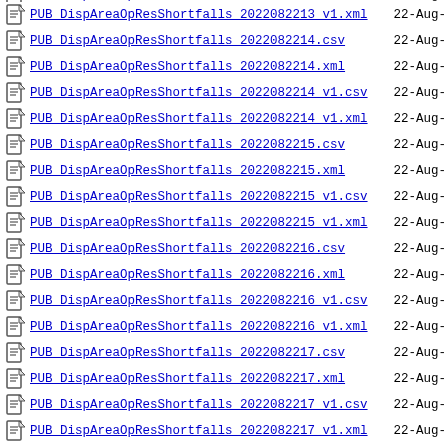PUB_DispAreaOpResShortfalls_2022082213_v1.csv  22-Aug-
PUB_DispAreaOpResShortfalls_2022082213_v1.xml  22-Aug-
PUB_DispAreaOpResShortfalls_2022082214.csv  22-Aug-
PUB_DispAreaOpResShortfalls_2022082214.xml  22-Aug-
PUB_DispAreaOpResShortfalls_2022082214_v1.csv  22-Aug-
PUB_DispAreaOpResShortfalls_2022082214_v1.xml  22-Aug-
PUB_DispAreaOpResShortfalls_2022082215.csv  22-Aug-
PUB_DispAreaOpResShortfalls_2022082215.xml  22-Aug-
PUB_DispAreaOpResShortfalls_2022082215_v1.csv  22-Aug-
PUB_DispAreaOpResShortfalls_2022082215_v1.xml  22-Aug-
PUB_DispAreaOpResShortfalls_2022082216.csv  22-Aug-
PUB_DispAreaOpResShortfalls_2022082216.xml  22-Aug-
PUB_DispAreaOpResShortfalls_2022082216_v1.csv  22-Aug-
PUB_DispAreaOpResShortfalls_2022082216_v1.xml  22-Aug-
PUB_DispAreaOpResShortfalls_2022082217.csv  22-Aug-
PUB_DispAreaOpResShortfalls_2022082217.xml  22-Aug-
PUB_DispAreaOpResShortfalls_2022082217_v1.csv  22-Aug-
PUB_DispAreaOpResShortfalls_2022082217_v1.xml  22-Aug-